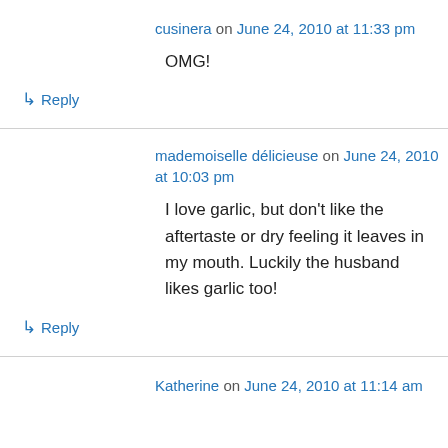cusinera on June 24, 2010 at 11:33 pm
OMG!
↳ Reply
mademoiselle délicieuse on June 24, 2010 at 10:03 pm
I love garlic, but don't like the aftertaste or dry feeling it leaves in my mouth. Luckily the husband likes garlic too!
↳ Reply
Katherine on June 24, 2010 at 11:14 am